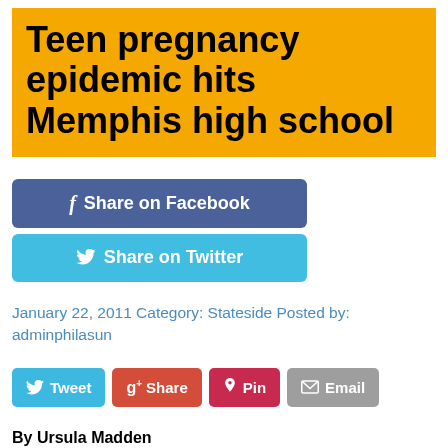Teen pregnancy epidemic hits Memphis high school
[Figure (infographic): Facebook share button (blue rounded rectangle) and Twitter share button (light blue rounded rectangle)]
January 22, 2011 Category: Stateside Posted by: adminphilasun
[Figure (infographic): Social sharing buttons row: Tweet (blue), Share (red/orange), Pin (dark red), Email (grey)]
By Ursula Madden